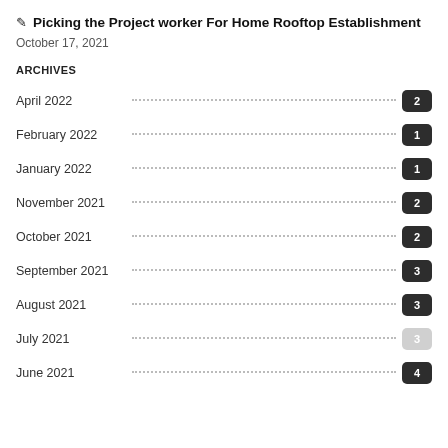Picking the Project worker For Home Rooftop Establishment
October 17, 2021
ARCHIVES
April 2022 · 2
February 2022 · 1
January 2022 · 1
November 2021 · 2
October 2021 · 2
September 2021 · 3
August 2021 · 3
July 2021 · 3
June 2021 · 4